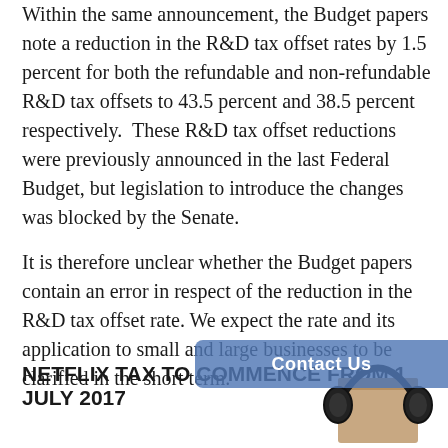Within the same announcement, the Budget papers note a reduction in the R&D tax offset rates by 1.5 percent for both the refundable and non-refundable R&D tax offsets to 43.5 percent and 38.5 percent respectively. These R&D tax offset reductions were previously announced in the last Federal Budget, but legislation to introduce the changes was blocked by the Senate.
It is therefore unclear whether the Budget papers contain an error in respect of the reduction in the R&D tax offset rate. We expect the rate and its application to small and large businesses to be clarified in the short term.
NETFLIX TAX TO COMMENCE FROM 1 JULY 2017
The so-called 'Netflix Tax' has been formally announced in the Budget papers...